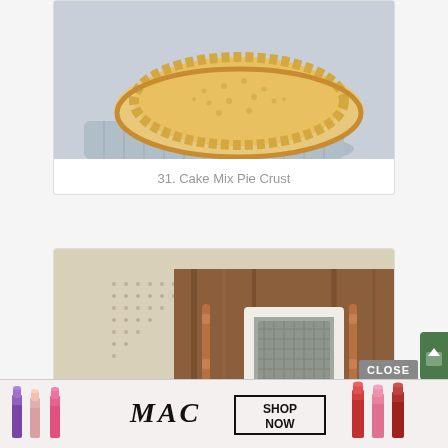[Figure (photo): A baked pie crust in a pie dish sitting on a gray knit cloth, empty golden crust with crimped edges]
31. Cake Mix Pie Crust
[Figure (photo): An air return cover mounted on a wooden wall/floor, with beige dotted pattern background and green text reading AIR RETURN COVER]
[Figure (photo): MAC cosmetics advertisement showing lipsticks with SHOP NOW text]